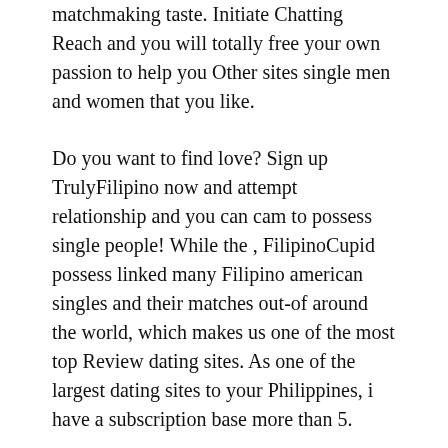matchmaking taste. Initiate Chatting Reach and you will totally free your own passion to help you Other sites single men and women that you like.
Do you want to find love? Sign up TrulyFilipino now and attempt relationship and you can cam to possess single people! While the , FilipinoCupid possess linked many Filipino american singles and their matches out-of around the world, which makes us one of the most top Review dating sites. As one of the largest dating sites to your Philippines, i have a subscription base more than 5.
Continue reading
04/09/2022
Dating tiredness – as to the reasons many people are turning to face-to -deal with apps very first